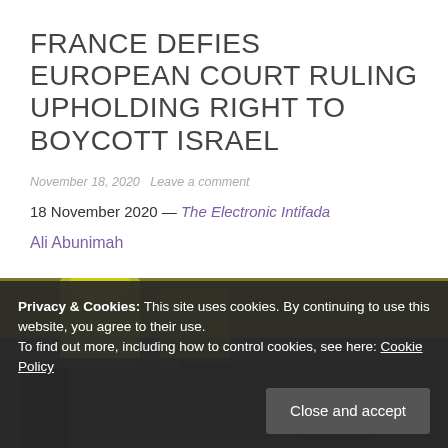FRANCE DEFIES EUROPEAN COURT RULING UPHOLDING RIGHT TO BOYCOTT ISRAEL
November 18, 2020   Leave a comment
18 November 2020 — The Electronic Intifada
Ali Abunimah
[Figure (photo): Photo of protesters, partially visible, wearing yellow vests]
Privacy & Cookies: This site uses cookies. By continuing to use this website, you agree to their use.
To find out more, including how to control cookies, see here: Cookie Policy